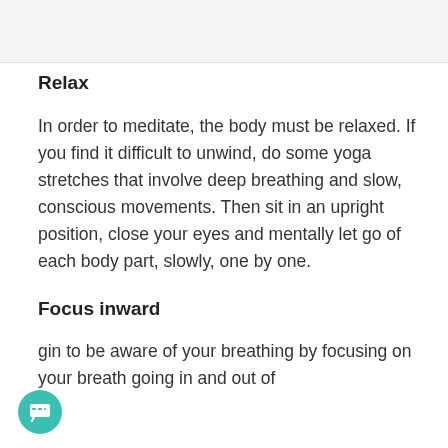Relax
In order to meditate, the body must be relaxed. If you find it difficult to unwind, do some yoga stretches that involve deep breathing and slow, conscious movements. Then sit in an upright position, close your eyes and mentally let go of each body part, slowly, one by one.
Focus inward
gin to be aware of your breathing by focusing on your breath going in and out of